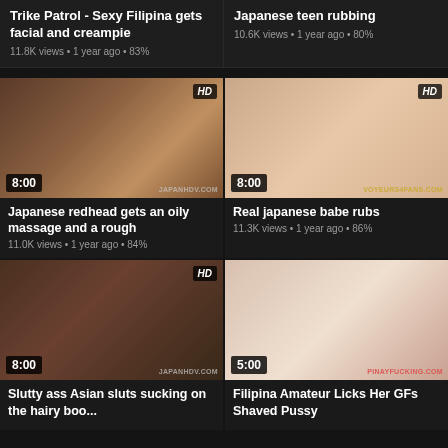Trike Patrol - Sexy Filipina gets facial and creampie
11.8K views • 1 year ago • 83%
Japanese teen rubbing
10.6K views • 1 year ago • 80%
[Figure (photo): Video thumbnail - Japanese redhead massage scene, HD badge, 8:00 duration, japanhdv.com watermark]
[Figure (photo): Video thumbnail - Real japanese babe rubs, HD badge, 8:00 duration, voyeurs4fans.com watermark]
Japanese redhead gets an oily massage and a rough
11.0K views • 1 year ago • 84%
Real japanese babe rubs
11.3K views • 1 year ago • 86%
[Figure (photo): Video thumbnail - Asian group scene, HD badge, 8:00 duration, japanhdv.com watermark]
[Figure (photo): Video thumbnail - Filipina amateur, 5:00 duration, pinayfucking.com watermark]
Slutty ass Asian sluts sucking on the hairy boo...
Filipina Amateur Licks Her GFs Shaved Pussy